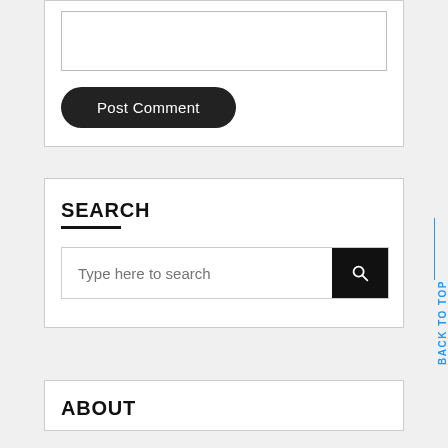[Figure (screenshot): Comment text area input field, empty]
[Figure (screenshot): Post Comment button, dark rounded pill shape with white text]
SEARCH
[Figure (screenshot): Search input field with placeholder 'Type here to search' and black search button with magnifier icon]
ABOUT